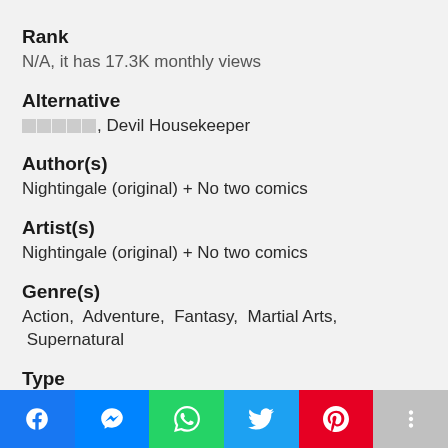Rank
N/A, it has 17.3K monthly views
Alternative
□□□□□, Devil Housekeeper
Author(s)
Nightingale (original) + No two comics
Artist(s)
Nightingale (original) + No two comics
Genre(s)
Action,  Adventure,  Fantasy,  Martial Arts,  Supernatural
Type
Updating
Release
2019